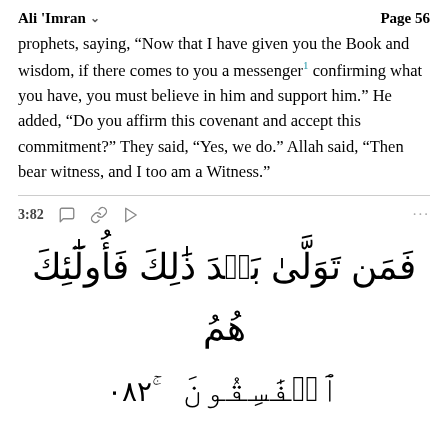Ali 'Imran   Page 56
prophets, saying, “Now that I have given you the Book and wisdom, if there comes to you a messenger¹ confirming what you have, you must believe in him and support him.” He added, “Do you affirm this covenant and accept this commitment?” They said, “Yes, we do.” Allah said, “Then bear witness, and I too am a Witness.”
3:82
فَمَن تَوَلّٰى بَعْدَ ذَلِكَ فَأولَئِڪْ هُمُ الْفَسِقُونَ ۚف٢